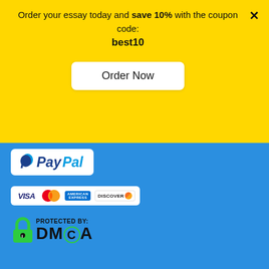Order your essay today and save 10% with the coupon code: best10
[Figure (other): Order Now button on yellow banner]
[Figure (logo): PayPal logo badge on white background]
[Figure (logo): Payment cards: VISA, Mastercard, American Express, Discover]
[Figure (logo): DMCA Protected badge with lock icon]
© 2010 – 2022 Nation Writers All Rights Reserved.
Disclaimer: If you need a custom written term, thesis or research paper as well as an essay or dissertation sample, choosing Nation Writers - a relatively cheap custom writing service - is a great option. Get any needed writing assistance at a price that every average student can afford.